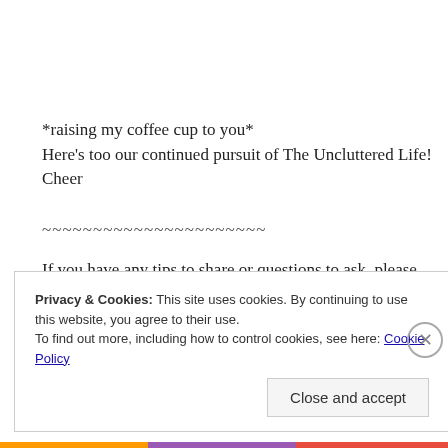*raising my coffee cup to you*
Here’s too our continued pursuit of The Uncluttered Life! Cheer
~~~~~~~~~~~~~~~~~~~~~~
If you have any tips to share or questions to ask, please commer
Coming soon: Peace and Calm| Completion of the Master Bedr
Privacy & Cookies: This site uses cookies. By continuing to use this website, you agree to their use.
To find out more, including how to control cookies, see here: Cookie Policy
Close and accept